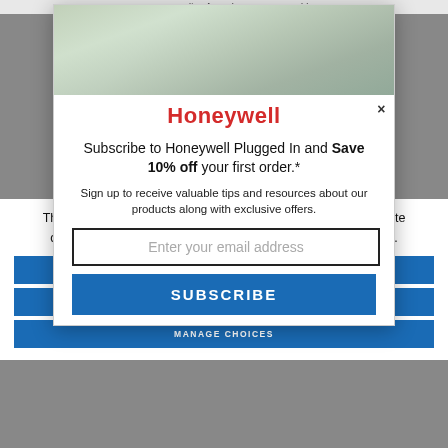screw extending from the Motor Assembly
[Figure (screenshot): Honeywell subscription modal popup over kitchen background image. Contains Honeywell logo in red, close button (x), headline text, sign-up description, email input field, and Subscribe button.]
Honeywell
Subscribe to Honeywell Plugged In and Save 10% off your first order.*
Sign up to receive valuable tips and resources about our products along with exclusive offers.
Enter your email address
SUBSCRIBE
This site uses cookies as described in our privacy policy, for site operation, analytics, enhanced user experience, or advertising.
ACCEPT ALL
DECLINE ALL
MANAGE CHOICES